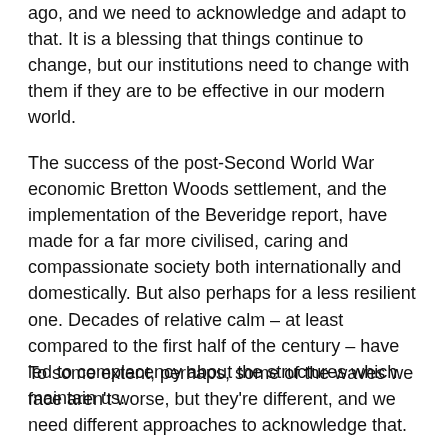ago, and we need to acknowledge and adapt to that. It is a blessing that things continue to change, but our institutions need to change with them if they are to be effective in our modern world.
The success of the post-Second World War economic Bretton Woods settlement, and the implementation of the Beveridge report, have made for a far more civilised, caring and compassionate society both internationally and domestically. But also perhaps for a less resilient one. Decades of relative calm – at least compared to the first half of the century – have led to complacency about the structures which maintain us.
To some extent, perhaps, some of the waves we face aren't worse, but they're different, and we need different approaches to acknowledge that.